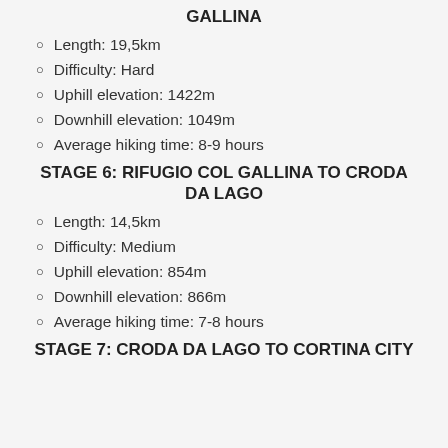GALLINA
Length: 19,5km
Difficulty: Hard
Uphill elevation: 1422m
Downhill elevation: 1049m
Average hiking time: 8-9 hours
STAGE 6: RIFUGIO COL GALLINA TO CRODA DA LAGO
Length: 14,5km
Difficulty: Medium
Uphill elevation: 854m
Downhill elevation: 866m
Average hiking time: 7-8 hours
STAGE 7: CRODA DA LAGO TO CORTINA CITY